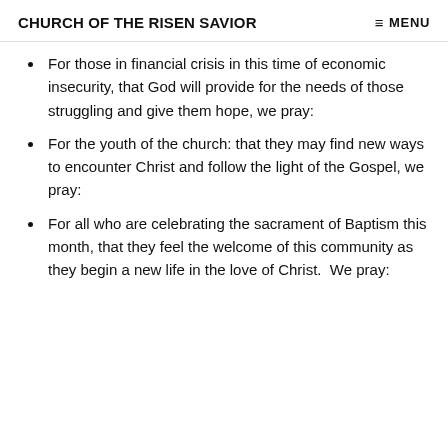CHURCH OF THE RISEN SAVIOR   ≡ MENU
For those in financial crisis in this time of economic insecurity, that God will provide for the needs of those struggling and give them hope, we pray:
For the youth of the church: that they may find new ways to encounter Christ and follow the light of the Gospel, we pray:
For all who are celebrating the sacrament of Baptism this month, that they feel the welcome of this community as they begin a new life in the love of Christ.  We pray: